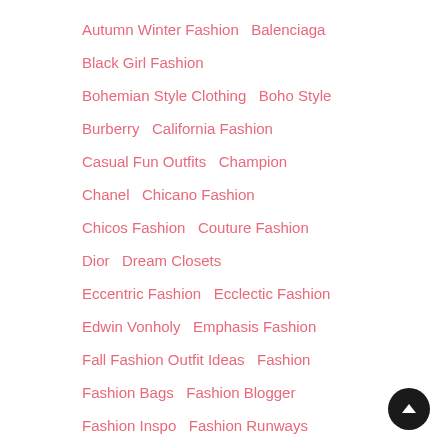Autumn Winter Fashion  Balenciaga
Black Girl Fashion
Bohemian Style Clothing  Boho Style
Burberry  California Fashion
Casual Fun Outfits  Champion
Chanel  Chicano Fashion
Chicos Fashion  Couture Fashion
Dior  Dream Closets
Eccentric Fashion  Ecclectic Fashion
Edwin Vonholy  Emphasis Fashion
Fall Fashion Outfit Ideas  Fashion
Fashion Bags  Fashion Blogger
Fashion Inspo  Fashion Runways
Fashion Week  Fashionnova
Fear Of God  Fendi  Futurism Fashion
Girl  Givenchy  Gucci  High